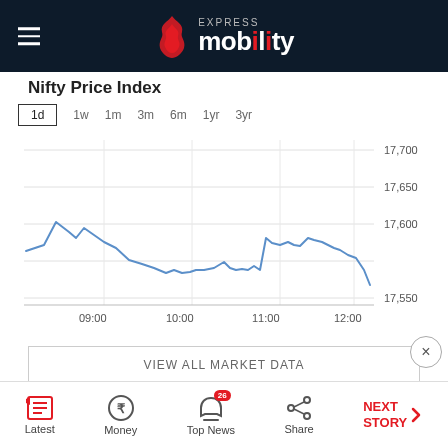Express Mobility
Nifty Price Index
[Figure (line-chart): Nifty 1d Price Chart]
VIEW ALL MARKET DATA
Latest | Money | Top News (26) | Share | NEXT STORY